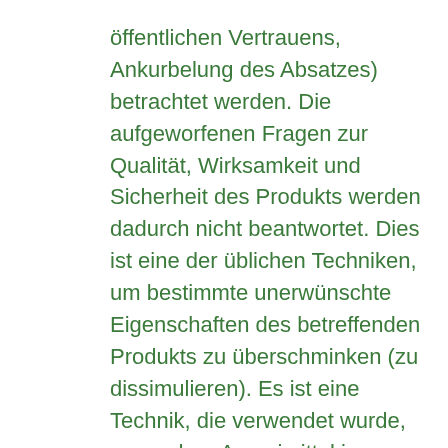öffentlichen Vertrauens, Ankurbelung des Absatzes) betrachtet werden. Die aufgeworfenen Fragen zur Qualität, Wirksamkeit und Sicherheit des Produkts werden dadurch nicht beantwortet. Dies ist eine der üblichen Techniken, um bestimmte unerwünschte Eigenschaften des betreffenden Produkts zu überschminken (zu dissimulieren). Es ist eine Technik, die verwendet wurde, um andere Arzneimittel im besten Licht darzustellen.
Wie bereits erwähnt, ist im Bereich der Arzneimittel (einschließlich Impfstoffe) die "Freigabe" des (für den Verkauf bestimmten) Fertigprodukts die letzte Stufe der Kontrolle (der Qualität und damit der Sicherheit), bevor diese Produkte der Bevölkerung zur